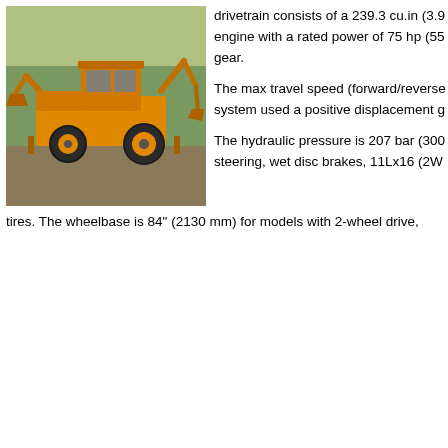[Figure (photo): A yellow backhoe loader (Case brand) photographed outdoors with trees in background. The machine shows the front loader bucket and rear backhoe attachment.]
drivetrain consists of a 239.3 cu.in (3.9 engine with a rated power of 75 hp (55 gear.
The max travel speed (forward/reverse) system used a positive displacement g
The hydraulic pressure is 207 bar (300 steering, wet disc brakes, 11Lx16 (2W tires. The wheelbase is 84" (2130 mm) for models with 2-wheel drive,